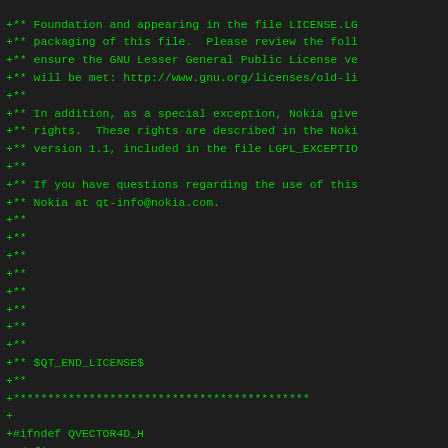+** Foundation and appearing in the file LICENSE.LG
+** packaging of this file.  Please review the foll
+** ensure the GNU Lesser General Public License ve
+** will be met: http://www.gnu.org/licenses/old-li
+**
+** In addition, as a special exception, Nokia give
+** rights.  These rights are described in the Noki
+** version 1.1, included in the file LGPL_EXCEPTIO
+**
+** If you have questions regarding the use of this
+** Nokia at qt-info@nokia.com.
+**
+**
+**
+**
+**
+**
+**
+**
+** $QT_END_LICENSE$
+**
+******************************************
+
+#ifndef QVECTOR4D_H
+#define QVECTOR4D_H
+
+#include <QtCore/qpoint.h>
+#include <QtCore/qmetatype.h>
+
+QT_BEGIN_HEADER